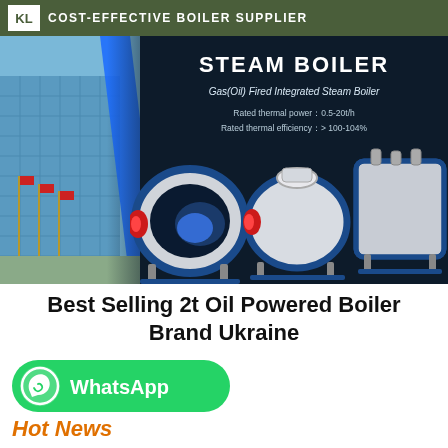COST-EFFECTIVE BOILER SUPPLIER
[Figure (photo): Steam boiler product banner showing industrial steam boilers with specifications: Rated thermal power 0.5-20t/h, Rated thermal efficiency >100-104%. Text overlay: STEAM BOILER, Gas(Oil) Fired Integrated Steam Boiler. Background shows building exterior with flagpoles on left, multiple industrial boiler units on right against dark background.]
Best Selling 2t Oil Powered Boiler Brand Ukraine
[Figure (logo): WhatsApp button - green rounded rectangle with WhatsApp icon and text 'WhatsApp']
Hot News